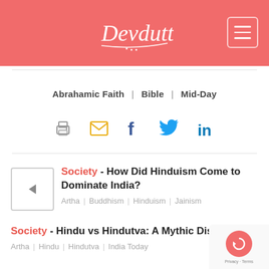Devdutt (logo) — navigation header
Abrahamic Faith | Bible | Mid-Day
[Figure (infographic): Social sharing icons: print, email, Facebook, Twitter, LinkedIn]
Society - How Did Hinduism Come to Dominate India? | Artha | Buddhism | Hinduism | Jainism
Society - Hindu vs Hindutva: A Mythic Dissonance | Artha | Hindu | Hindutva | India Today